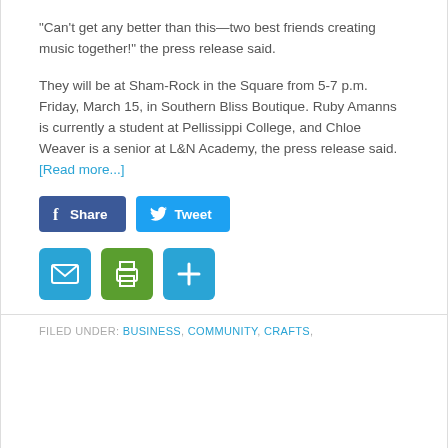“Can't get any better than this—two best friends creating music together!” the press release said.
They will be at Sham-Rock in the Square from 5-7 p.m. Friday, March 15, in Southern Bliss Boutique. Ruby Amanns is currently a student at Pellissippi College, and Chloe Weaver is a senior at L&N Academy, the press release said. [Read more...]
[Figure (infographic): Social share buttons: Facebook Share button (blue) and Twitter Tweet button (light blue), followed by email icon (blue), print icon (green), and plus/add icon (blue).]
FILED UNDER: BUSINESS, COMMUNITY, CRAFTS,